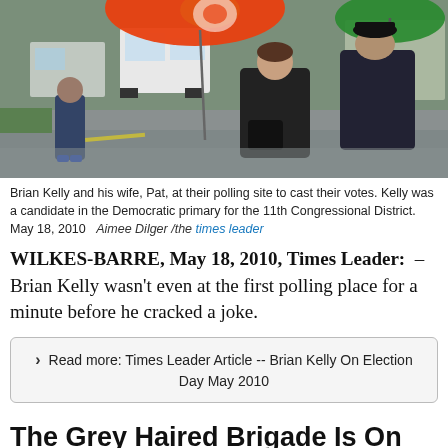[Figure (photo): Brian Kelly and his wife Pat standing at a polling site in the rain, with an orange umbrella visible in the foreground and vehicles in the background.]
Brian Kelly and his wife, Pat, at their polling site to cast their votes. Kelly was a candidate in the Democratic primary for the 11th Congressional District. May 18, 2010   Aimee Dilger /the times leader
WILKES-BARRE, May 18, 2010, Times Leader:  – Brian Kelly wasn't even at the first polling place for a minute before he cracked a joke.
Read more: Times Leader Article -- Brian Kelly On Election Day May 2010
The Grey Haired Brigade Is On Duty to Help!